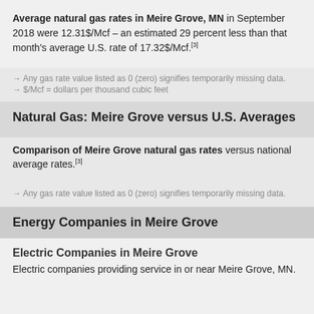Average natural gas rates in Meire Grove, MN in September 2018 were 12.31$/Mcf – an estimated 29 percent less than that month's average U.S. rate of 17.32$/Mcf.[3]
→ Any gas rate value listed as 0 (zero) signifies temporarily missing data.
→ $/Mcf = dollars per thousand cubic feet
Natural Gas: Meire Grove versus U.S. Averages
Comparison of Meire Grove natural gas rates versus national average rates.[3]
→ Any gas rate value listed as 0 (zero) signifies temporarily missing data.
Energy Companies in Meire Grove
Electric Companies in Meire Grove
Electric companies providing service in or near Meire Grove, MN.